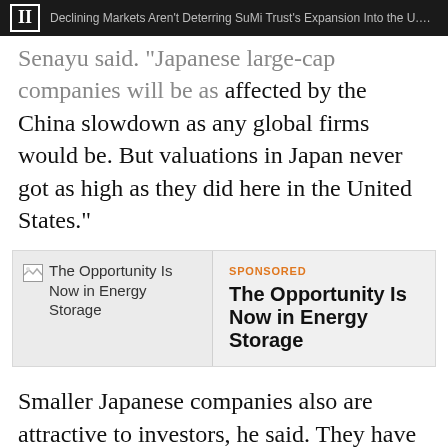II  Declining Markets Aren't Deterring SuMi Trust's Expansion Into the U.S. ...
Senayu said. "Japanese large-cap companies will be as affected by the China slowdown as any global firms would be. But valuations in Japan never got as high as they did here in the United States."
[Figure (other): Sponsored advertisement box with broken image placeholder and text: The Opportunity Is Now in Energy Storage]
Smaller Japanese companies also are attractive to investors, he said. They have little to no debt on their balance sheets and still have projected revenue growth.
Social sharing icons: Facebook, Twitter, Plus